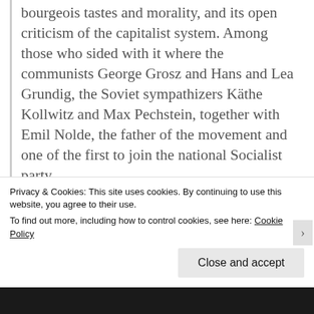bourgeois tastes and morality, and its open criticism of the capitalist system. Among those who sided with it where the communists George Grosz and Hans and Lea Grundig, the Soviet sympathizers Käthe Kollwitz and Max Pechstein, together with Emil Nolde, the father of the movement and one of the first to join the national Socialist party. –Golomstock 1990, p. 60
The Dadaists weren't hippies complaining about violence. They were radical left-wing
Privacy & Cookies: This site uses cookies. By continuing to use this website, you agree to their use. To find out more, including how to control cookies, see here: Cookie Policy
Close and accept